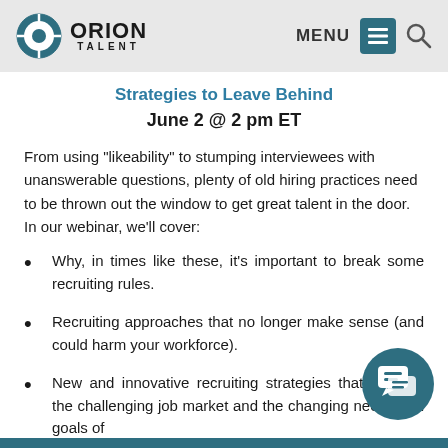ORION TALENT | MENU
Strategies to Leave Behind
June 2 @ 2 pm ET
From using "likeability" to stumping interviewees with unanswerable questions, plenty of old hiring practices need to be thrown out the window to get great talent in the door. In our webinar, we'll cover:
Why, in times like these, it's important to break some recruiting rules.
Recruiting approaches that no longer make sense (and could harm your workforce).
New and innovative recruiting strategies that address the challenging job market and the changing needs and goals of